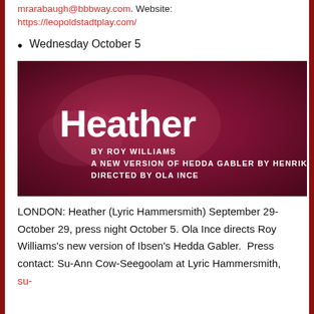mrarabaugh@bbbway.com. Website: https://leopoldstadtplay.com/
Wednesday October 5
[Figure (photo): Promotional image for the play 'Heather' by Roy Williams, a new version of Hedda Gabler by Henrik Ibsen, directed by Ola Ince. Dark crimson/magenta textured background with white text.]
LONDON: Heather (Lyric Hammersmith) September 29-October 29, press night October 5. Ola Ince directs Roy Williams's new version of Ibsen's Hedda Gabler.  Press contact: Su-Ann Cow-Seegoolam at Lyric Hammersmith, su-